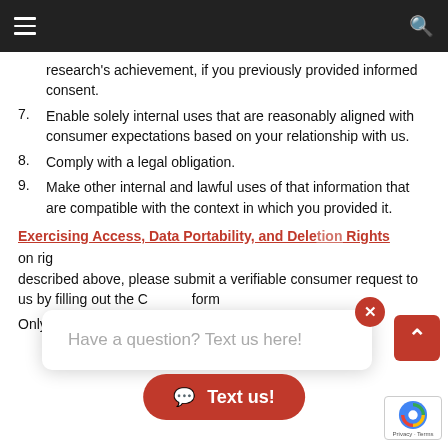Navigation bar with hamburger menu and search icon
research's achievement, if you previously provided informed consent.
7. Enable solely internal uses that are reasonably aligned with consumer expectations based on your relationship with us.
8. Comply with a legal obligation.
9. Make other internal and lawful uses of that information that are compatible with the context in which you provided it.
Exercising Access, Data Portability, and Deletion Rights
on rights described above, please submit a verifiable consumer request to us by filling out the C form
Only you, or a person registered with the California